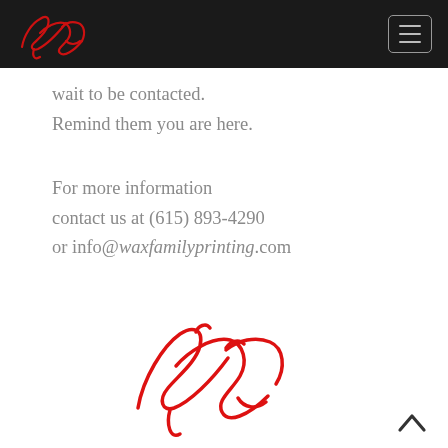[Figure (logo): Red cursive signature logo on dark navbar background]
[Figure (illustration): Hamburger menu icon (three horizontal lines) in rounded rectangle border on dark navbar]
wait to be contacted.
Remind them you are here.
For more information
contact us at (615) 893-4290
or info@waxfamilyprinting.com
[Figure (illustration): Large red cursive signature/logo in center of page]
[Figure (illustration): Back to top upward chevron arrow at bottom right]